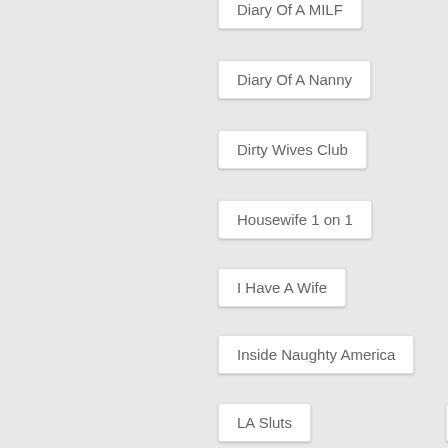Diary Of A MILF
Diary Of A Nanny
Dirty Wives Club
Housewife 1 on 1
I Have A Wife
Inside Naughty America
LA Sluts
Latin Adultery
Latina Step Mom
Lesbian Girl On Girl
Live Gym Cam
Live Naughty MILF